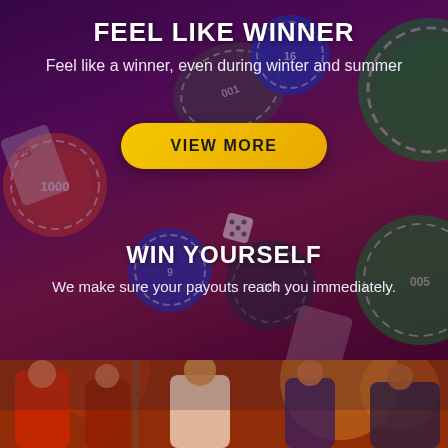[Figure (illustration): Dark purple/maroon background with scattered casino chips in red, blue, green, black colors and dice]
FEEL LIKE WINNER
Feel like a winner, even during winter and summer
VIEW MORE
WIN YOURSELF
We make sure your payouts reach you immediately.
[Figure (photo): Casino scene with people, a woman in white and others in a casino environment with slot machines in the background]